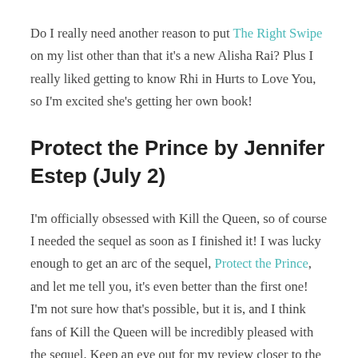Do I really need another reason to put The Right Swipe on my list other than that it's a new Alisha Rai? Plus I really liked getting to know Rhi in Hurts to Love You, so I'm excited she's getting her own book!
Protect the Prince by Jennifer Estep (July 2)
I'm officially obsessed with Kill the Queen, so of course I needed the sequel as soon as I finished it! I was lucky enough to get an arc of the sequel, Protect the Prince, and let me tell you, it's even better than the first one! I'm not sure how that's possible, but it is, and I think fans of Kill the Queen will be incredibly pleased with the sequel. Keep an eye out for my review closer to the publication date. And if